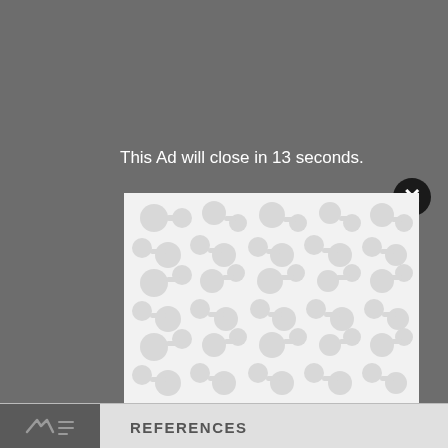This Ad will close in 13 seconds.
[Figure (illustration): Advertisement placeholder with decorative blob/molecule pattern on light gray background, with close button (X in circle) in top right corner]
Kinase inhibitors developed for treatment of
REFERENCES
[Figure (logo): Small logo icon in bottom left dark bar]